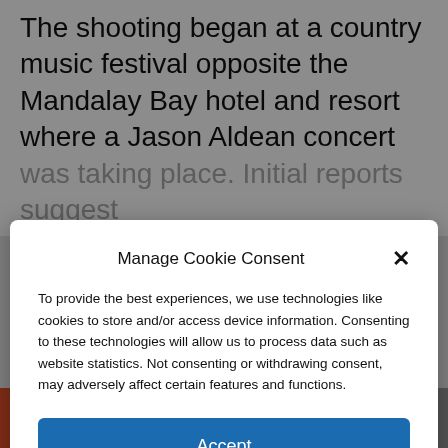The shooting began at a country music festival opposite the Mandalay Bay hotel and resort where a Jason Aldean concert was taking place. Initial reports suggest
Manage Cookie Consent
To provide the best experiences, we use technologies like cookies to store and/or access device information. Consenting to these technologies will allow us to process data such as website statistics. Not consenting or withdrawing consent, may adversely affect certain features and functions.
Accept
Cookie Policy   Privacy Policy
clear of the area.”